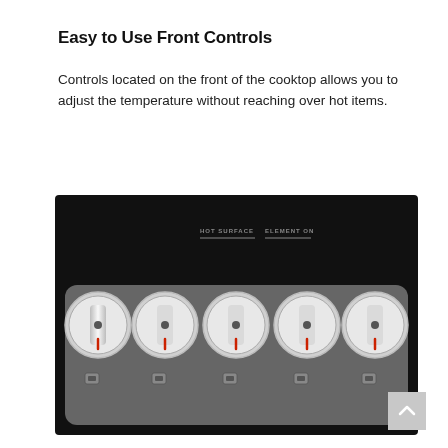Easy to Use Front Controls
Controls located on the front of the cooktop allows you to adjust the temperature without reaching over hot items.
[Figure (photo): Photo of a cooktop front control panel showing five metallic knobs on a dark gray panel, with indicator lights beneath each knob and two indicator labels (HOT SURFACE, ELEMENT ON) on a black background above the knobs.]
^